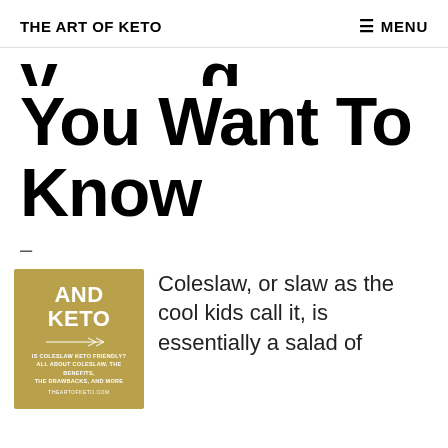THE ART OF KETO   ☰ MENU
You Want To Know
–
[Figure (illustration): Book cover with gold/tan background, bold white text reading 'AND KETO', arrows decoration, subtitle text 'IS COLESLAW KETO FRIENDLY? ALL ABOUT COLESLAW, THE BENEFITS, THE DRAWBACKS, AND MORE', and website THEARTOFKETO.COM]
Coleslaw, or slaw as the cool kids call it, is essentially a salad of